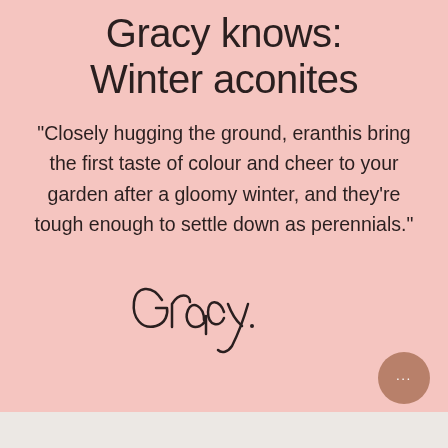Gracy knows: Winter aconites
"Closely hugging the ground, eranthis bring the first taste of colour and cheer to your garden after a gloomy winter, and they're tough enough to settle down as perennials."
[Figure (illustration): Cursive handwritten signature reading 'Gracy']